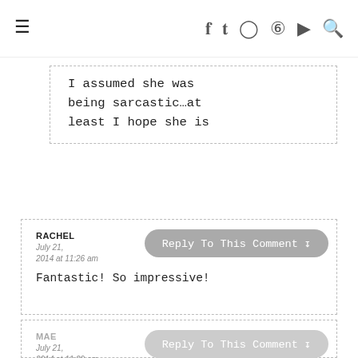≡   f  𝕏  IG  𝕻  ▶  🔍
I assumed she was being sarcastic…at least I hope she is
RACHEL
July 21, 2014 at 11:26 am
Fantastic! So impressive!
MAE
July 21,
2014 at 11:29 am